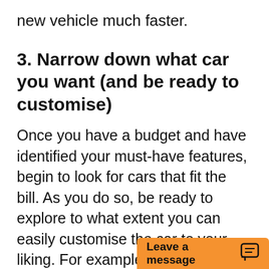new vehicle much faster.
3. Narrow down what car you want (and be ready to customise)
Once you have a budget and have identified your must-have features, begin to look for cars that fit the bill. As you do so, be ready to explore to what extent you can easily customise the car to your liking. For example, while you may have your heart set on a red sports car, if you find an otherwise perfect model in grey just sitting in storage for $50 paint job would c